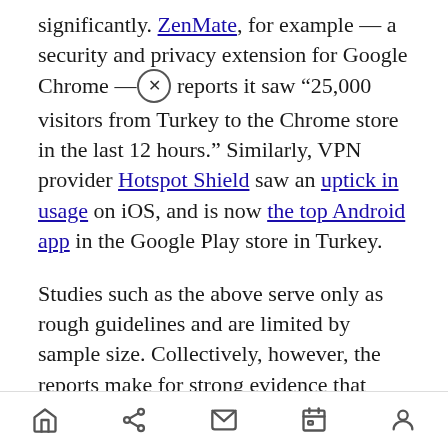significantly. ZenMate, for example — a security and privacy extension for Google Chrome — [X] reports it saw “25,000 visitors from Turkey to the Chrome store in the last 12 hours.” Similarly, VPN provider Hotspot Shield saw an uptick in usage on iOS, and is now the top Android app in the Google Play store in Turkey.
Studies such as the above serve only as rough guidelines and are limited by sample size. Collectively, however, the reports make for strong evidence that Erdogan has failed to enact an effective country-wide ban on Twitter.
Well that’s backfiring. The whole world is watching, Turkey